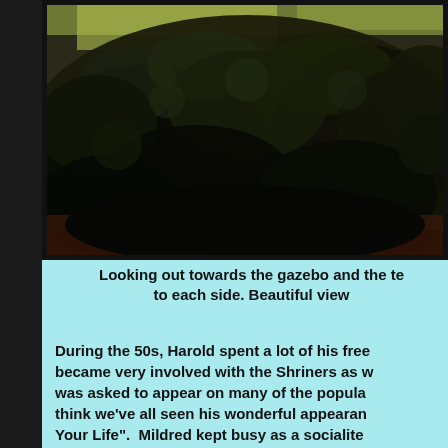[Figure (photo): A black and white photograph showing dense foliage and trees/shrubs, appears to be a garden or outdoor setting looking toward a gazebo area. The photo is partially visible, cropped at the right edge.]
Looking out towards the gazebo and the te to each side. Beautiful view
During the 50s, Harold spent a lot of his free became very involved with the Shriners as w was asked to appear on many of the popula think we've all seen his wonderful appearan Your Life".  Mildred kept busy as a socialite throughout the...